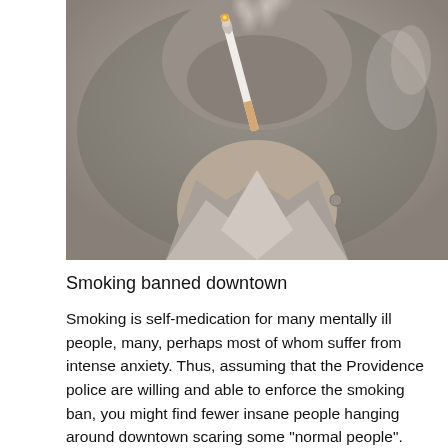[Figure (photo): Close-up black and white photograph of a lit cigarette being held near a person's chin/neck area, with smoke rising from the burning tip.]
Smoking banned downtown
Smoking is self-medication for many mentally ill people, many, perhaps most of whom suffer from intense anxiety. Thus, assuming that the Providence police are willing and able to enforce the smoking ban, you might find fewer insane people hanging around downtown scaring some "normal people". That presumably would be good for